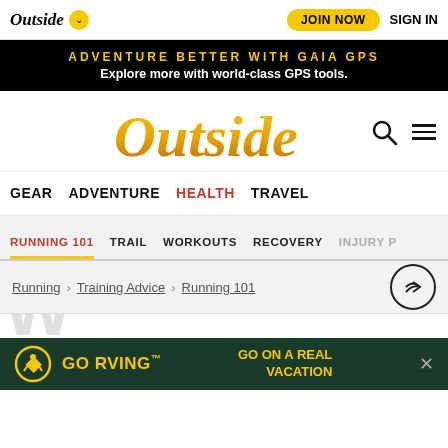Outside | JOIN NOW | SIGN IN
ADVENTURE BETTER WITH GAIA GPS — Explore more with world-class GPS tools.
Outside
GEAR   ADVENTURE   HEALTH   TRAVEL
RUNNING 101   TRAIL   WORKOUTS   RECOVERY   INJURY P
Running > Training Advice > Running 101
[Figure (infographic): GO RVING advertisement banner with yellow circular logo, text 'GO RVING™' and 'GO ON A REAL VACATION' in yellow on dark green background.]